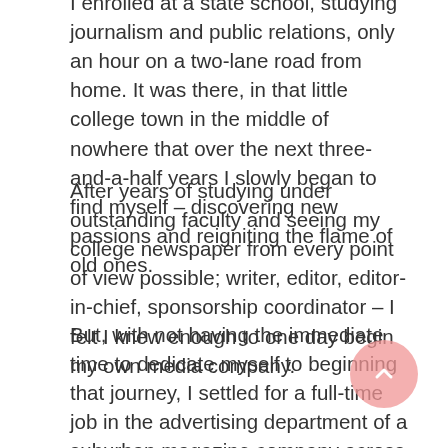I enrolled at a state school, studying journalism and public relations, only an hour on a two-lane road from home. It was there, in that little college town in the middle of nowhere that over the next three-and-a-half years I slowly began to find myself – discovering new passions and reigniting the flame of old ones.
After years of studying under outstanding faculty and seeing my college newspaper from every point of view possible; writer, editor, editor-in-chief, sponsorship coordinator – I felt I knew enough to one day begin my own media company.
But, with not having the immediate time to dedicate myself to beginning that journey, I settled for a full-time job in the advertising department of a suburban magazine company across the state following graduation in December.